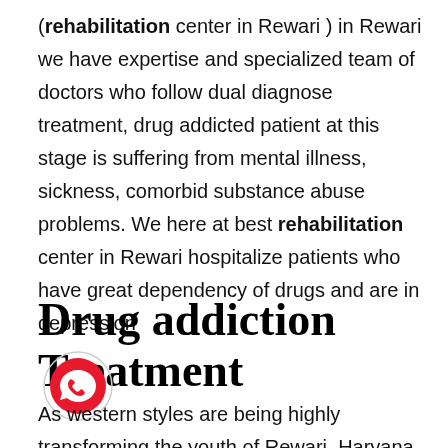(rehabilitation center in Rewari ) in Rewari we have expertise and specialized team of doctors who follow dual diagnose treatment, drug addicted patient at this stage is suffering from mental illness, sickness, comorbid substance abuse problems. We here at best rehabilitation center in Rewari hospitalize patients who have great dependency of drugs and are in depression
Drug addiction Treatment
[Figure (logo): WhatsApp logo button — red circle with white phone handset icon inside a speech bubble, surrounded by a light circle border]
As western styles are being highly transforming the youth of Rewari, Haryana, Himachal and other states